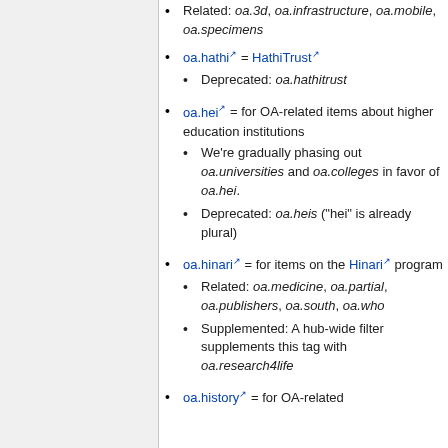Related: oa.3d, oa.infrastructure, oa.mobile, oa.specimens
oa.hathi = HathiTrust
Deprecated: oa.hathitrust
oa.hei = for OA-related items about higher education institutions
We're gradually phasing out oa.universities and oa.colleges in favor of oa.hei.
Deprecated: oa.heis ("hei" is already plural)
oa.hinari = for items on the Hinari program
Related: oa.medicine, oa.partial, oa.publishers, oa.south, oa.who
Supplemented: A hub-wide filter supplements this tag with oa.research4life
oa.history = for OA-related